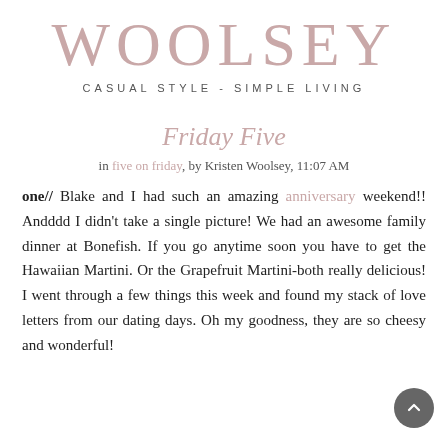WOOLSEY
CASUAL STYLE - SIMPLE LIVING
Friday Five
in five on friday, by Kristen Woolsey, 11:07 AM
one// Blake and I had such an amazing anniversary weekend!! Andddd I didn't take a single picture! We had an awesome family dinner at Bonefish. If you go anytime soon you have to get the Hawaiian Martini. Or the Grapefruit Martini-both really delicious! I went through a few things this week and found my stack of love letters from our dating days. Oh my goodness, they are so cheesy and wonderful!